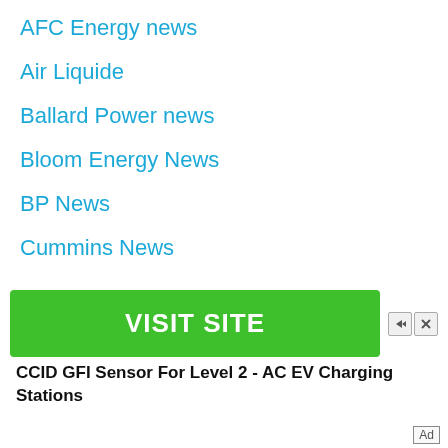AFC Energy news
Air Liquide
Ballard Power news
Bloom Energy News
BP News
Cummins News
DOE news
Doosan news
Environmental Science News
Financial Energy News
[Figure (other): Advertisement banner with green VISIT SITE button and ad controls, followed by text: CCID GFI Sensor For Level 2 - AC EV Charging Stations. Ad label at bottom right.]